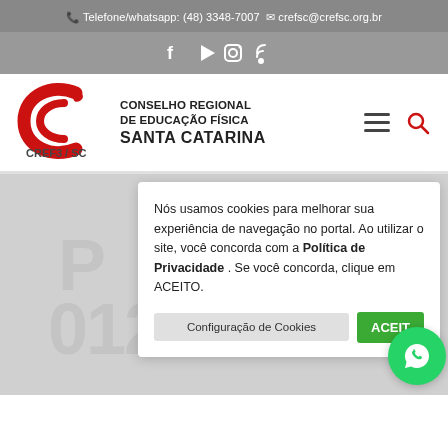📞 Telefone/whatsapp: (48) 3348-7007 ✉ crefsc@crefsc.org.br
[Figure (screenshot): Social media icons bar: Facebook, YouTube/Play, Instagram, RSS]
[Figure (logo): CREF3/SC logo with red C symbol. Text: CONSELHO REGIONAL DE EDUCAÇÃO FÍSICA SANTA CATARINA. Hamburger menu icon and red search icon.]
Nós usamos cookies para melhorar sua experiência de navegação no portal. Ao utilizar o site, você concorda com a Política de Privacidade . Se você concorda, clique em ACEITO.
Configuração de Cookies   ACEITO